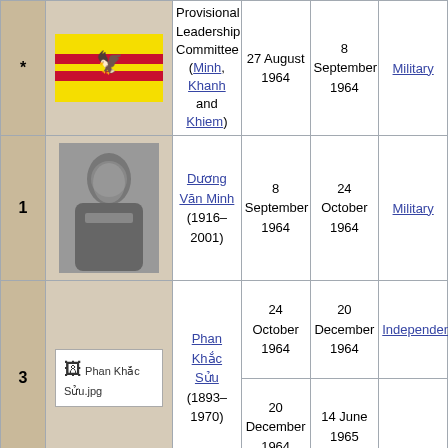| # | Portrait | Name | Took office | Left office | Party |
| --- | --- | --- | --- | --- | --- |
| * | [South Vietnam flag] | Provisional Leadership Committee (Minh, Khanh and Khiem) | 27 August 1964 | 8 September 1964 | Military |
| 1 | [Photo: Dương Văn Minh] | Dương Văn Minh (1916–2001) | 8 September 1964 | 24 October 1964 | Military |
| 3 | [Photo: Phan Khắc Sửu.jpg] | Phan Khắc Sửu (1893–1970) | 24 October 1964 | 20 December 1964 | Independent |
| 3 |  |  | 20 December 1964 | 14 June 1965 |  |
|  | [Photo bottom] |  |  |  |  |